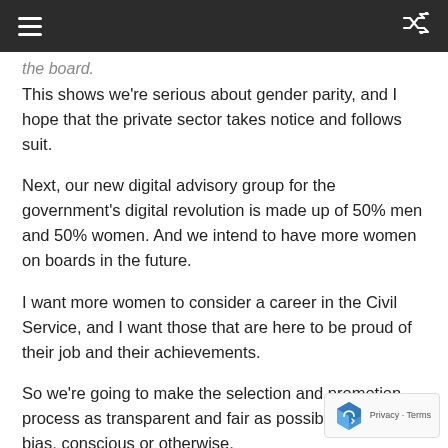Navigation bar with hamburger menu and shuffle icon
the board.
This shows we're serious about gender parity, and I hope that the private sector takes notice and follows suit.
Next, our new digital advisory group for the government's digital revolution is made up of 50% men and 50% women. And we intend to have more women on boards in the future.
I want more women to consider a career in the Civil Service, and I want those that are here to be proud of their job and their achievements.
So we're going to make the selection and promotion process as transparent and fair as possible by tackling bias, conscious or otherwise,